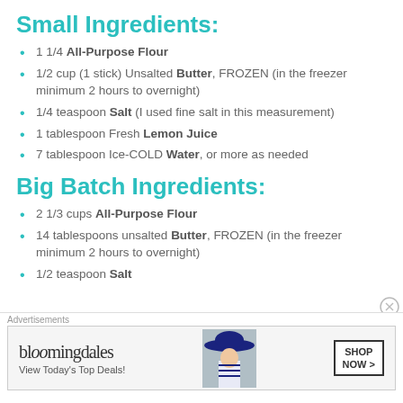Small Ingredients:
1 1/4 All-Purpose Flour
1/2 cup (1 stick) Unsalted Butter, FROZEN (in the freezer minimum 2 hours to overnight)
1/4 teaspoon Salt (I used fine salt in this measurement)
1 tablespoon Fresh Lemon Juice
7 tablespoon Ice-COLD Water, or more as needed
Big Batch Ingredients:
2 1/3 cups All-Purpose Flour
14 tablespoons unsalted Butter, FROZEN (in the freezer minimum 2 hours to overnight)
1/2 teaspoon Salt
[Figure (screenshot): Bloomingdale's advertisement banner with logo, 'View Today's Top Deals!' tagline, woman in hat photo, and 'SHOP NOW >' button]